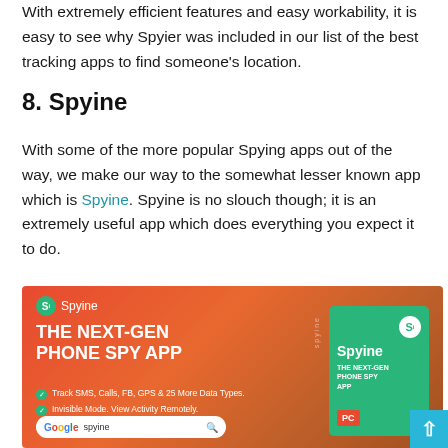With extremely efficient features and easy workability, it is easy to see why Spyier was included in our list of the best tracking apps to find someone's location.
8. Spyine
With some of the more popular Spying apps out of the way, we make our way to the somewhat lesser known app which is Spyine. Spyine is no slouch though; it is an extremely useful app which does everything you expect it to do.
[Figure (advertisement): Spyine advertisement banner showing 'THE NEXT-GEN PHONE SPY APP' with bullet points listing features, a Google search bar with 'spyine', and a product box graphic. Red/orange gradient background.]